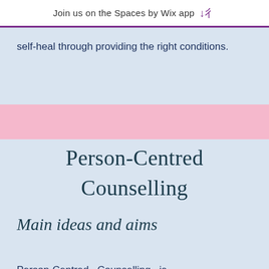Join us on the Spaces by Wix app
self-heal through providing the right conditions.
Person-Centred Counselling
Main ideas and aims
Person-Centred Counselling is